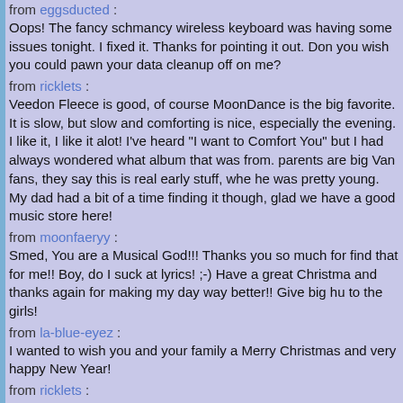from eggsducted :
Oops! The fancy schmancy wireless keyboard was having some issues tonight. I fixed it. Thanks for pointing it out. Don you wish you could pawn your data cleanup off on me?
from ricklets :
Veedon Fleece is good, of course MoonDance is the big favorite. It is slow, but slow and comforting is nice, especially the evening. I like it, I like it alot! I've heard "I want to Comfort You" but I had always wondered what album that was from. parents are big Van fans, they say this is real early stuff, whe he was pretty young. My dad had a bit of a time finding it though, glad we have a good music store here!
from moonfaeryy :
Smed, You are a Musical God!!! Thanks you so much for find that for me!! Boy, do I suck at lyrics! ;-) Have a great Christma and thanks again for making my day way better!! Give big hu to the girls!
from la-blue-eyez :
I wanted to wish you and your family a Merry Christmas and very happy New Year!
from ricklets :
Merry Christmas my Smedindy friend! I hope you and your beautiful family have a lovely Christmas. Awwwe..I love the picture in your diary, they are so precious! Little Kristins first